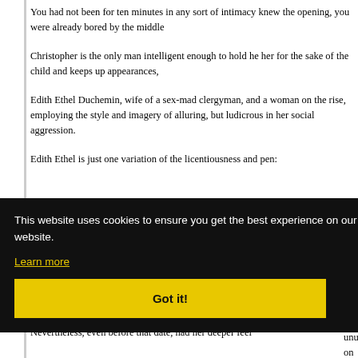You had not been for ten minutes in any sort of intimacy knew the opening, you were already bored by the middle
Christopher is the only man intelligent enough to hold he her for the sake of the child and keeps up appearances,
Edith Ethel Duchemin, wife of a sex-mad clergyman, and a woman on the rise, employing the style and imagery of alluring, but ludicrous in her social aggression.
Edith Ethel is just one variation of the licentiousness and pen:
[Figure (screenshot): Cookie consent banner with black background. Text reads: 'This website uses cookies to ensure you get the best experience on our website.' with a 'Learn more' link and a yellow 'Got it!' button.]
stated herself to advocate an “of course, enlightened” p Nevertheless, even before that date, had her deeper feel